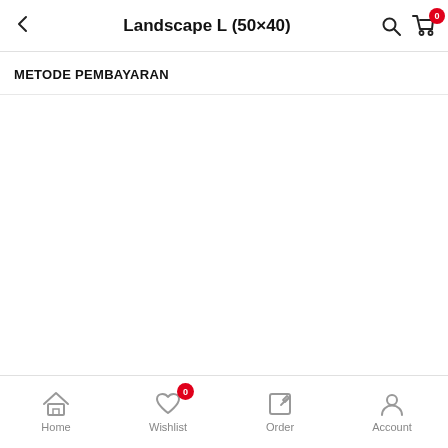Landscape L (50×40)
METODE PEMBAYARAN
Home | Wishlist 0 | Order | Account